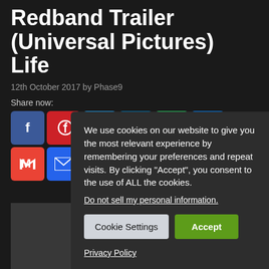Redband Trailer (Universal Pictures) Life
12th October 2017 by Phase9
Share now:
[Figure (screenshot): Social sharing buttons: Facebook, Pinterest, Twitter, LinkedIn, WhatsApp, Messenger, Gmail, Email, Link, More]
[Figure (screenshot): Cookie consent overlay with text: We use cookies on our website to give you the most relevant experience by remembering your preferences and repeat visits. By clicking "Accept", you consent to the use of ALL the cookies. Links: Do not sell my personal information, Privacy Policy. Buttons: Cookie Settings, Accept.]